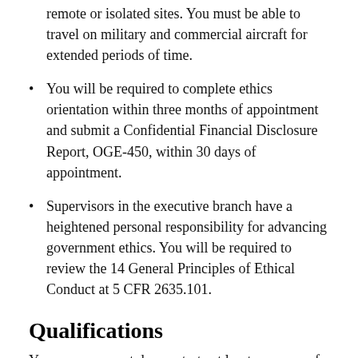remote or isolated sites. You must be able to travel on military and commercial aircraft for extended periods of time.
You will be required to complete ethics orientation within three months of appointment and submit a Confidential Financial Disclosure Report, OGE-450, within 30 days of appointment.
Supervisors in the executive branch have a heightened personal responsibility for advancing government ethics. You will be required to review the 14 General Principles of Ethical Conduct at 5 CFR 2635.101.
Qualifications
Your resume must demonstrate at least one year of specialized experience at or equivalent to the NT-04 (GS-11/12) grade level or pay band in the Federal service or